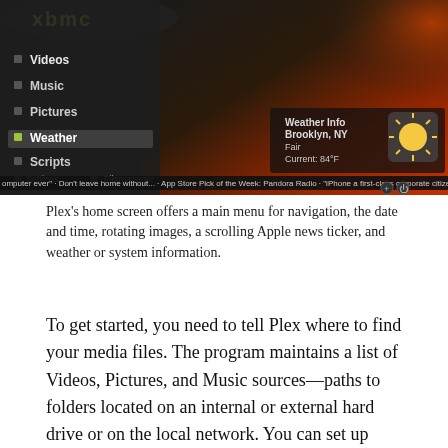[Figure (screenshot): Plex media center home screen showing a dark themed interface with menu items (Videos, Music, Pictures, Weather, Scripts), Settings and Filemanager links, weather info for Brooklyn NY showing Fair 84°F with a sun icon, and a scrolling news ticker at the bottom.]
Plex's home screen offers a main menu for navigation, the date and time, rotating images, a scrolling Apple news ticker, and weather or system information.
To get started, you need to tell Plex where to find your media files. The program maintains a list of Videos, Pictures, and Music sources—paths to folders located on an internal or external hard drive or on the local network. You can set up multiple sources in Plex—one for Jack's Movies, one for Jill's